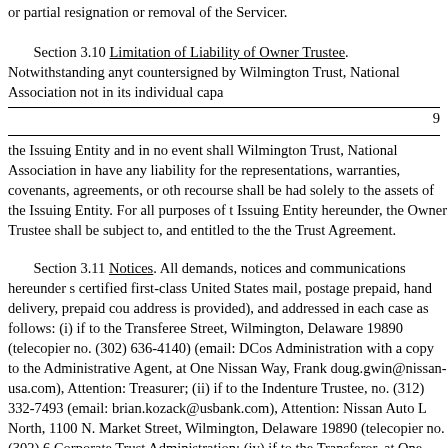or partial resignation or removal of the Servicer.
Section 3.10 Limitation of Liability of Owner Trustee. Notwithstanding anyt countersigned by Wilmington Trust, National Association not in its individual capa
9
the Issuing Entity and in no event shall Wilmington Trust, National Association in have any liability for the representations, warranties, covenants, agreements, or oth recourse shall be had solely to the assets of the Issuing Entity. For all purposes of t Issuing Entity hereunder, the Owner Trustee shall be subject to, and entitled to the the Trust Agreement.
Section 3.11 Notices. All demands, notices and communications hereunder s certified first-class United States mail, postage prepaid, hand delivery, prepaid cou address is provided), and addressed in each case as follows: (i) if to the Transferee Street, Wilmington, Delaware 19890 (telecopier no. (302) 636-4140) (email: DCos Administration with a copy to the Administrative Agent, at One Nissan Way, Frank doug.gwin@nissan-usa.com), Attention: Treasurer; (ii) if to the Indenture Trustee, no. (312) 332-7493 (email: brian.kozack@usbank.com), Attention: Nissan Auto L North, 1100 N. Market Street, Wilmington, Delaware 19890 (telecopier no. (302) 6 Corporate Trust Administration; (iv) if to the Transferor, at One Nissan Way, Frank Attention: Treasurer; (v) if to Moody’s, to Moody’s Investors Services, Inc., 7 Wor (telecopier no. (212) 553-7820) (email: ServicerReports@Moodys.com), Attention 55 Water Street, New York, New York, 10041 (email: servicer_reports@spglobal.c foregoing in a written notice to the other parties hereto. Delivery shall occur only v notice, upon actual receipt or reported tender of such communication by an officer address for the recipient from the above-provided address, as amended by written